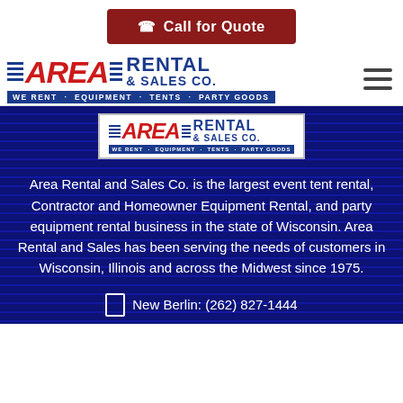[Figure (other): Call for Quote button with phone icon, dark red background]
[Figure (logo): Area Rental & Sales Co. logo with tagline WE RENT · EQUIPMENT · TENTS · PARTY GOODS, hamburger menu icon on right]
[Figure (logo): Area Rental & Sales Co. logo on blue striped background banner]
Area Rental and Sales Co. is the largest event tent rental, Contractor and Homeowner Equipment Rental, and party equipment rental business in the state of Wisconsin. Area Rental and Sales has been serving the needs of customers in Wisconsin, Illinois and across the Midwest since 1975.
New Berlin: (262) 827-1444